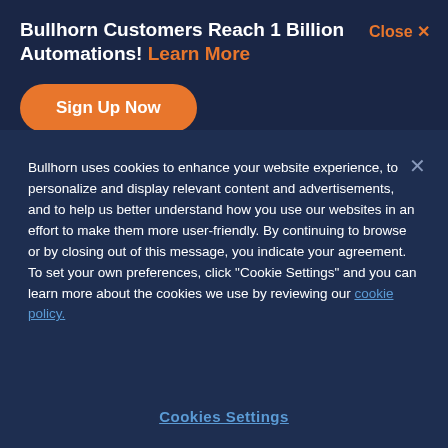Bullhorn Customers Reach 1 Billion Automations! Learn More
[Figure (other): Orange 'Sign Up Now' button with rounded corners on dark navy background]
Bullhorn uses cookies to enhance your website experience, to personalize and display relevant content and advertisements, and to help us better understand how you use our websites in an effort to make them more user-friendly. By continuing to browse or by closing out of this message, you indicate your agreement. To set your own preferences, click "Cookie Settings" and you can learn more about the cookies we use by reviewing our cookie policy.
Cookies Settings